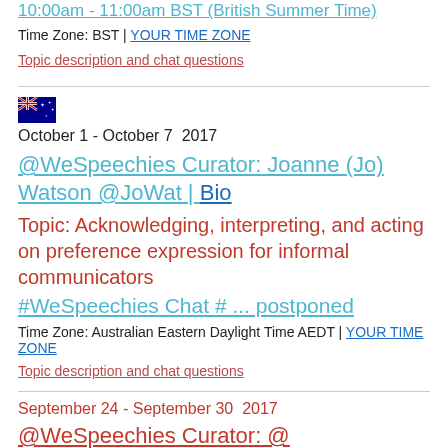10:00am - 11:00am BST (British Summer Time)
Time Zone: BST | YOUR TIME ZONE
Topic description and chat questions
[Figure (illustration): Australian flag emoji/icon]
October 1 - October 7  2017
@WeSpeechies Curator: Joanne (Jo) Watson @JoWat | Bio
Topic: Acknowledging, interpreting, and acting on preference expression for informal communicators
#WeSpeechies Chat # ... postponed
Time Zone: Australian Eastern Daylight Time AEDT | YOUR TIME ZONE
Topic description and chat questions
September 24 - September 30  2017
@WeSpeechies Curator: @